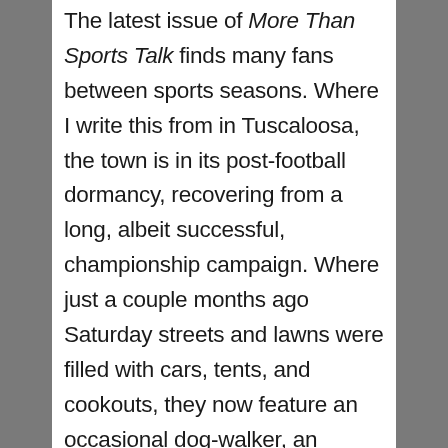The latest issue of More Than Sports Talk finds many fans between sports seasons. Where I write this from in Tuscaloosa, the town is in its post-football dormancy, recovering from a long, albeit successful, championship campaign. Where just a couple months ago Saturday streets and lawns were filled with cars, tents, and cookouts, they now feature an occasional dog-walker, an almost-eerie quiet. There are a few odd weeks post-college football season in a college football town where everyone seems to wake up on Saturday